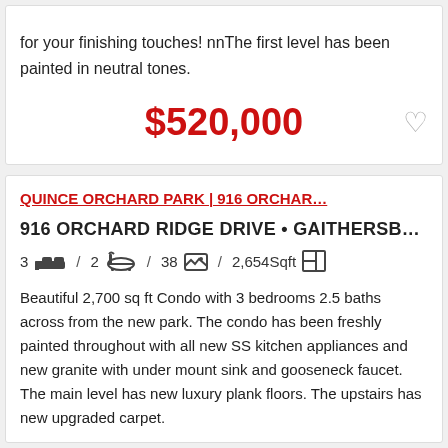for your finishing touches! nnThe first level has been painted in neutral tones.
$520,000
QUINCE ORCHARD PARK | 916 ORCHAR…
916 ORCHARD RIDGE DRIVE • GAITHERSB…
3 [bed icon] / 2 [bath icon] / 38 [photo icon] / 2,654Sqft [floorplan icon]
Beautiful 2,700 sq ft Condo with 3 bedrooms 2.5 baths across from the new park. The condo has been freshly painted throughout with all new SS kitchen appliances and new granite with under mount sink and gooseneck faucet. The main level has new luxury plank floors. The upstairs has new upgraded carpet.